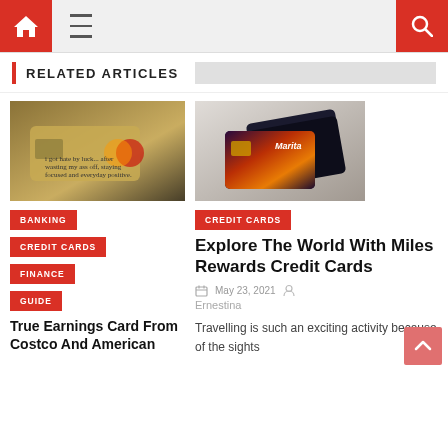Navigation bar with home, menu, and search icons
RELATED ARTICLES
[Figure (photo): Gold credit card with handwritten text on a dark background]
BANKING
CREDIT CARDS
FINANCE
GUIDE
True Earnings Card From Costco And American
[Figure (photo): Two dark credit cards with colorful design on a light wooden surface]
CREDIT CARDS
Explore The World With Miles Rewards Credit Cards
May 23, 2021
Ernestina
Travelling is such an exciting activity because of the sights